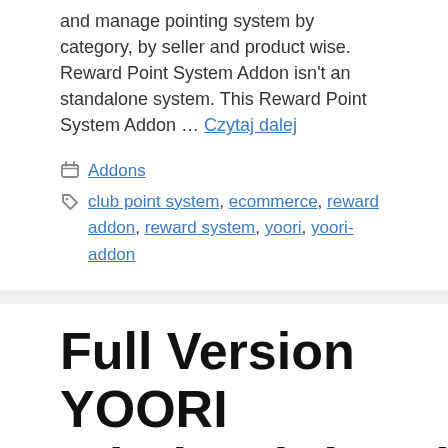and manage pointing system by category, by seller and product wise. Reward Point System Addon isn't an standalone system. This Reward Point System Addon … Czytaj dalej
Addons
club point system, ecommerce, reward addon, reward system, yoori, yoori-addon
Full Version YOORI Wholesale(B2B) Add-on for YOORI –